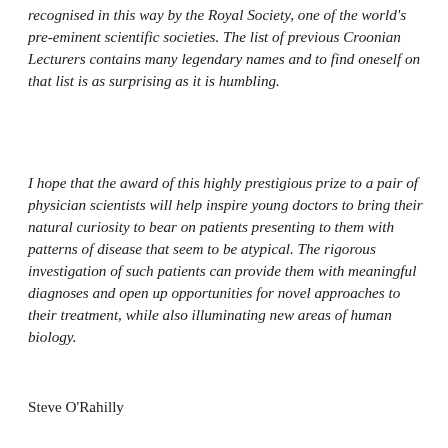recognised in this way by the Royal Society, one of the world's pre-eminent scientific societies. The list of previous Croonian Lecturers contains many legendary names and to find oneself on that list is as surprising as it is humbling.
I hope that the award of this highly prestigious prize to a pair of physician scientists will help inspire young doctors to bring their natural curiosity to bear on patients presenting to them with patterns of disease that seem to be atypical. The rigorous investigation of such patients can provide them with meaningful diagnoses and open up opportunities for novel approaches to their treatment, while also illuminating new areas of human biology.
Steve O'Rahilly